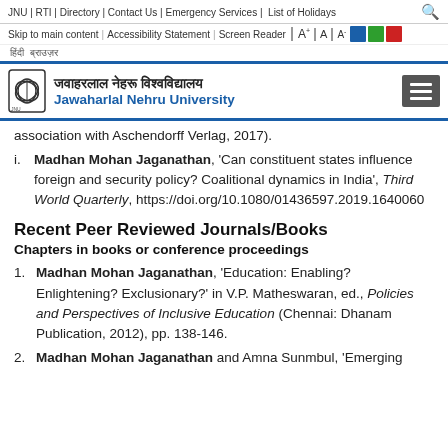JNU | RTI | Directory | Contact Us | Emergency Services | List of Holidays
Skip to main content | Accessibility Statement | Screen Reader | A+ | A | A-
Hindi text (nav)
Jawaharlal Nehru University (logo header)
association with Aschendorff Verlag, 2017).
i. Madhan Mohan Jaganathan, 'Can constituent states influence foreign and security policy? Coalitional dynamics in India', Third World Quarterly, https://doi.org/10.1080/01436597.2019.1640060
Recent Peer Reviewed Journals/Books
Chapters in books or conference proceedings
1. Madhan Mohan Jaganathan, 'Education: Enabling? Enlightening? Exclusionary?' in V.P. Matheswaran, ed., Policies and Perspectives of Inclusive Education (Chennai: Dhanam Publication, 2012), pp. 138-146.
2. Madhan Mohan Jaganathan and Amna Sunmbul, 'Emerging